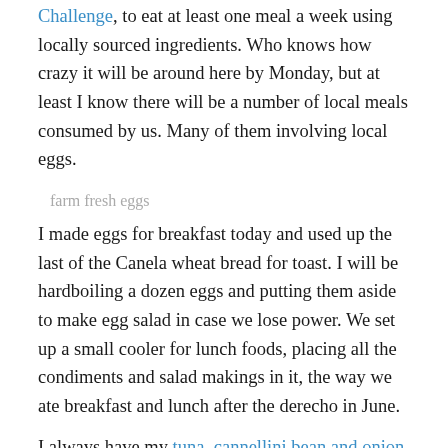Challenge, to eat at least one meal a week using locally sourced ingredients. Who knows how crazy it will be around here by Monday, but at least I know there will be a number of local meals consumed by us. Many of them involving local eggs.
farm fresh eggs
I made eggs for breakfast today and used up the last of the Canela wheat bread for toast. I will be hardboiling a dozen eggs and putting them aside to make egg salad in case we lose power. We set up a small cooler for lunch foods, placing all the condiments and salad makings in it, the way we ate breakfast and lunch after the derecho in June.
I always have my tuna, cannellini bean and onion salad ingredients on hand, but they aren't local. Well, the onions